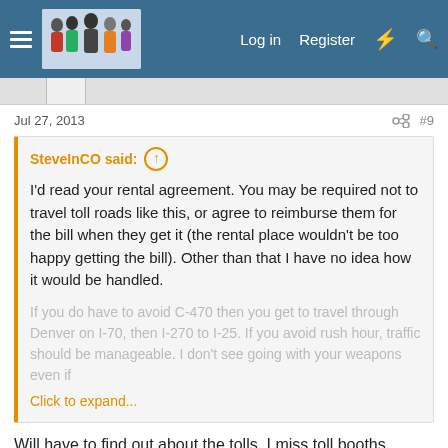Log in  Register
Jul 27, 2013   #9
SteveInCO said: ↑
I'd read your rental agreement. You may be required not to travel toll roads like this, or agree to reimburse them for the bill when they get it (the rental place wouldn't be too happy getting the bill). Other than that I have no idea how it would be handled.
If you do have to avoid C-470 then you get to travel through Denver on I-70, then I-270 to I-25. If you avoid rush hour, traffic should be manageable. I don't see going with your weapons even if
Click to expand...
Will have to find out about the tolls. I miss toll booths. Thanks again.
PikesPeakMtnMan
Regular Member